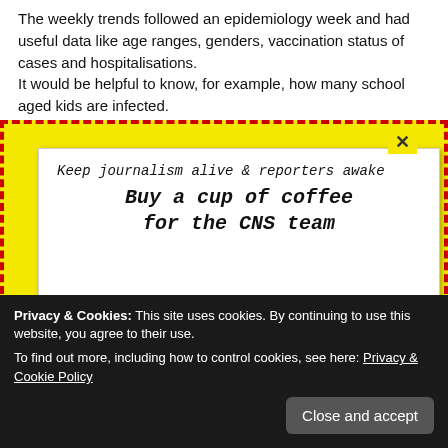The weekly trends followed an epidemiology week and had useful data like age ranges, genders, vaccination status of cases and hospitalisations.
It would be helpful to know, for example, how many school aged kids are infected.
Are there high numbers of cases in still-unable-to-be vaccinated primary school aged children, as there are in the U.K.?
[Figure (screenshot): A popup advertisement overlay with a yellow dashed border on a yellow background containing a white card. The card says 'Keep journalism alive & reporters awake' then 'Buy a cup of coffee for the CNS team' in bold italic monospace, with an illustration of a blue coffee cup with steam.]
diately!
Privacy & Cookies: This site uses cookies. By continuing to use this website, you agree to their use.
To find out more, including how to control cookies, see here: Privacy & Cookie Policy
Close and accept